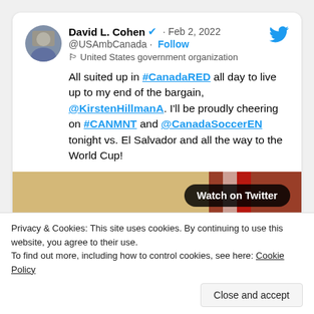[Figure (screenshot): A tweet by David L. Cohen (@USAmbCanada) dated Feb 2, 2022. Text: 'All suited up in #CanadaRED all day to live up to my end of the bargain, @KirstenHillmanA. I'll be proudly cheering on #CANMNT and @CanadaSoccerEN tonight vs. El Salvador and all the way to the World Cup!' with a video thumbnail showing a man and a 'Watch on Twitter' button.]
Privacy & Cookies: This site uses cookies. By continuing to use this website, you agree to their use.
To find out more, including how to control cookies, see here: Cookie Policy
Close and accept